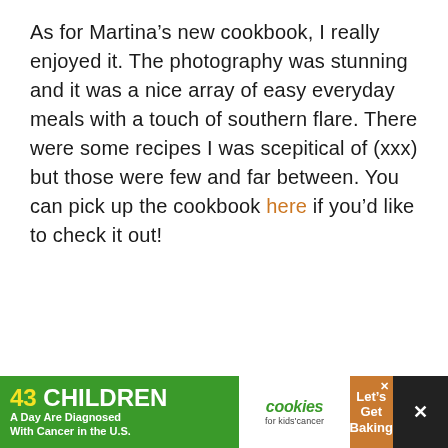As for Martina's new cookbook, I really enjoyed it. The photography was stunning and it was a nice array of easy everyday meals with a touch of southern flare. There were some recipes I was scepitical of (xxx) but those were few and far between. You can pick up the cookbook here if you'd like to check it out!
[Figure (infographic): Yellow circle with bold spaced uppercase text reading SPREAD ACCURATE INFORMATION overlaid on top of it]
[Figure (screenshot): Advertisement banner at bottom: green section with '43 CHILDREN A Day Are Diagnosed With Cancer in the U.S.', white cookies for kids cancer logo, brown/orange section with 'Let's Get Baking', dark X close buttons]